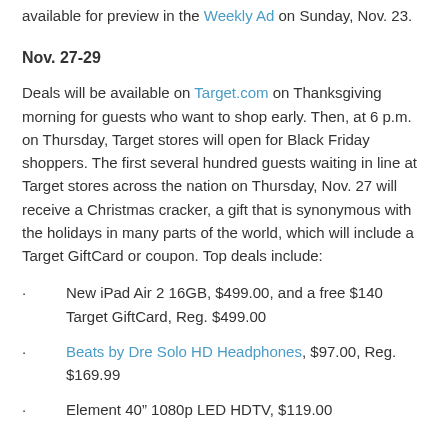available for preview in the Weekly Ad on Sunday, Nov. 23.
Nov. 27-29
Deals will be available on Target.com on Thanksgiving morning for guests who want to shop early. Then, at 6 p.m. on Thursday, Target stores will open for Black Friday shoppers. The first several hundred guests waiting in line at Target stores across the nation on Thursday, Nov. 27 will receive a Christmas cracker, a gift that is synonymous with the holidays in many parts of the world, which will include a Target GiftCard or coupon. Top deals include:
New iPad Air 2 16GB, $499.00, and a free $140 Target GiftCard, Reg. $499.00
Beats by Dre Solo HD Headphones, $97.00, Reg. $169.99
Element 40” 1080p LED HDTV, $119.00